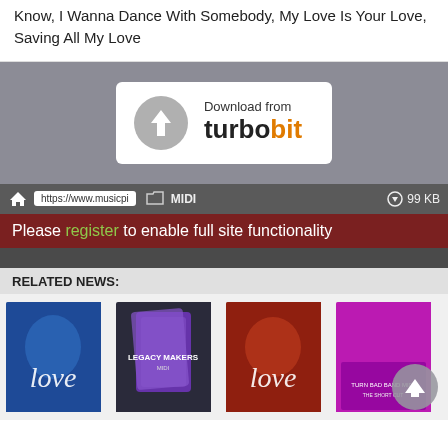Know, I Wanna Dance With Somebody, My Love Is Your Love, Saving All My Love
[Figure (screenshot): Turbobit download button with grey arrow icon and turbobit logo (turbo in black, bit in orange)]
https://www.musicpi   MIDI   99 KB
Please register to enable full site functionality
RELATED NEWS:
[Figure (photo): Four thumbnail images showing music-related covers including love-themed album art and a MIDI pack box, with a scroll-up arrow button overlay on the rightmost thumbnail]